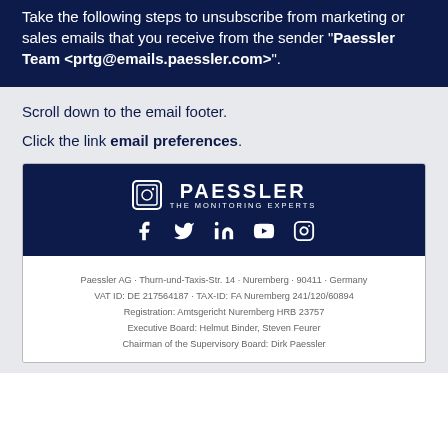Take the following steps to unsubscribe from marketing or sales emails that you receive from the sender "Paessler Team <prtg@emails.paessler.com>".
Scroll down to the email footer.
Click the link email preferences.
[Figure (logo): Paessler logo with Instagram icon, social media icons (Facebook, Twitter, LinkedIn, YouTube, Instagram) on dark navy background]
Paessler AG · Thurn-und-Taxis-Str. 14 · Nuremberg · 90411 · Germany
VAT ID: DE 217564187 · TAX-ID: FA Nuremberg 241/120/60894
Registration: Amtsgericht Nuremberg HRB 23757
Executive Board: Helmut Binder, Steven Feurer
Chairman of the Supervisory Board: Dirk Paessler